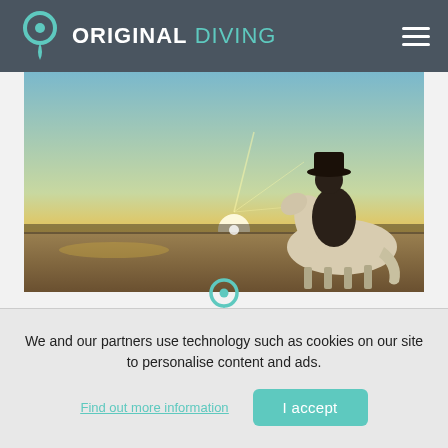ORIGINAL DIVING
[Figure (photo): Silhouette of a person on a white horse at sunset over a flat landscape, golden light rays behind.]
[Figure (logo): Original Diving teal pin/location icon]
We've got you covered
We're here to help with everything while you're away from
We and our partners use technology such as cookies on our site to personalise content and ads.
Find out more information
I accept